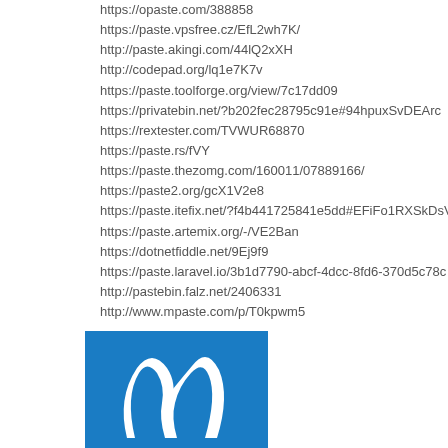https://opaste.com/388858
https://paste.vpsfree.cz/EfL2wh7K/
http://paste.akingi.com/44lQ2xXH
http://codepad.org/lq1e7K7v
https://paste.toolforge.org/view/7c17dd09
https://privatebin.net/?b202fec28795c91e#94hpuxSvDEArc...
https://rextester.com/TVWUR68870
https://paste.rs/fVY
https://paste.thezomg.com/160011/07889166/
https://paste2.org/gcX1V2e8
https://paste.itefix.net/?f4b441725841e5dd#EFiFo1RXSkDsV...
https://paste.artemix.org/-/VE2Ban
https://dotnetfiddle.net/9Ej9f9
https://paste.laravel.io/3b1d7790-abcf-4dcc-8fd6-370d5c78c...
http://pastebin.falz.net/2406331
http://www.mpaste.com/p/T0kpwm5
[Figure (logo): Blue background logo with white stylized letter or symbol resembling an 'n' or similar mark]